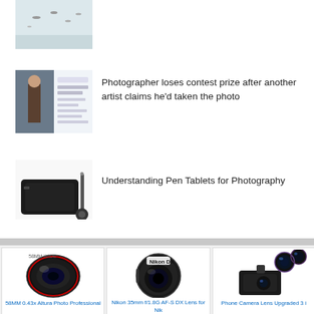[Figure (photo): Thumbnail of a sky/landscape scene with birds]
[Figure (photo): Thumbnail of a person standing and a social media tweet screenshot]
Photographer loses contest prize after another artist claims he'd taken the photo
[Figure (photo): Thumbnail of a pen tablet with stylus]
Understanding Pen Tablets for Photography
[Figure (photo): 58MM 0.43x Altura Photo Professional wide angle lens]
58MM 0.43x Altura Photo Professional
[Figure (photo): Nikon 35mm f/1.8G AF-S DX Lens for Nikon]
Nikon 35mm f/1.8G AF-S DX Lens for Nik
[Figure (photo): Phone Camera Lens Upgraded 3-in-1 clip-on lens set]
Phone Camera Lens Upgraded 3 i